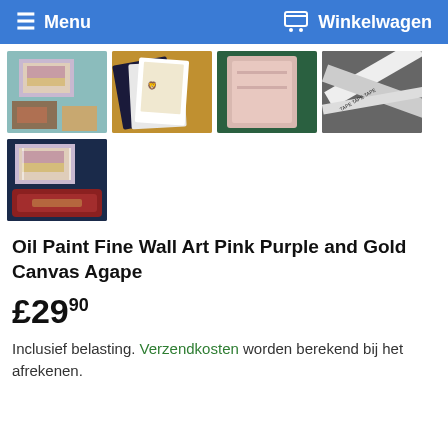Menu  Winkelwagen
[Figure (photo): Four product thumbnail images in a row: a canvas artwork on wall in living room, multiple canvas artworks fanned out, pink/beige fabric or canvas, and black-and-white tape/measuring tools]
[Figure (photo): Single thumbnail image of canvas artwork displayed in a living room with dark blue walls and red sofa]
Oil Paint Fine Wall Art Pink Purple and Gold Canvas Agape
£29,90
Inclusief belasting. Verzendkosten worden berekend bij het afrekenen.